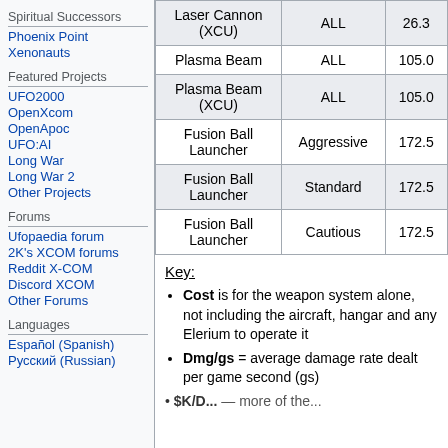Spiritual Successors
Phoenix Point
Xenonauts
Featured Projects
UFO2000
OpenXcom
OpenApoc
UFO:AI
Long War
Long War 2
Other Projects
Forums
Ufopaedia forum
2K's XCOM forums
Reddit X-COM
Discord XCOM
Other Forums
Languages
Español (Spanish)
Русский (Russian)
| Weapon | AI | Dmg/gs |
| --- | --- | --- |
| Laser Cannon (XCU) | ALL | 26.3 |
| Plasma Beam | ALL | 105.0 |
| Plasma Beam (XCU) | ALL | 105.0 |
| Fusion Ball Launcher | Aggressive | 172.5 |
| Fusion Ball Launcher | Standard | 172.5 |
| Fusion Ball Launcher | Cautious | 172.5 |
Key:
Cost is for the weapon system alone, not including the aircraft, hangar and any Elerium to operate it
Dmg/gs = average damage rate dealt per game second (gs)